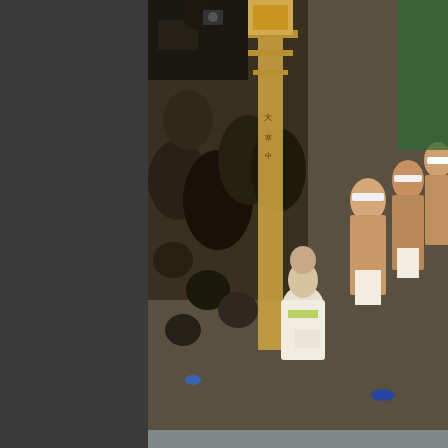[Figure (photo): Crowd scene at a Japanese Shinto winter cold water bathing festival (Kanchu Suiyoku). Men in white loincloths (fundoshi) and white headbands participating in the ritual. A wooden shrine lantern or portable shrine structure visible. Photographers and clothed spectators in background.]
NEW | 鐵砲洲寒中水浴'１２
■■■   199   □□□□□□□□□□□□□□□□□   ■■■
2011年12月16日□□□□□ □□□□□□□□□□2012□□□□□□□□□□□□□□□□□□□□□□□□□□□□□□□ 10:27□□□□□□□□□□□□□□□□□/□□□□□□□□□□□□□□□□□□□□